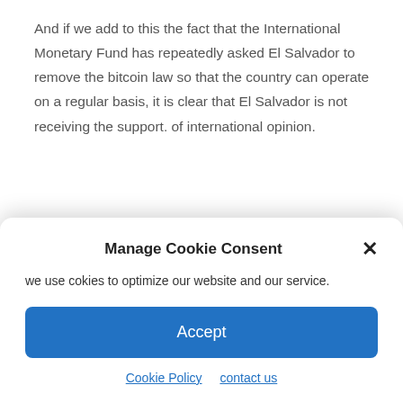And if we add to this the fact that the International Monetary Fund has repeatedly asked El Salvador to remove the bitcoin law so that the country can operate on a regular basis, it is clear that El Salvador is not receiving the support. of international opinion.
▶ To display Hide the table of contents
Related
salvador | The “mirage” of
Bitcoin (BTC): “Don’t worry, it
Manage Cookie Consent
we use cokies to optimize our website and our service.
Accept
Cookie Policy   contact us